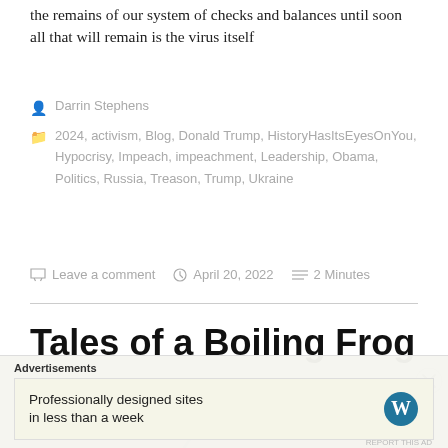the remains of our system of checks and balances until soon all that will remain is the virus itself
Darrin Stephens
2024, activism, Blog, Donald Trump, HistoryHasItsEyesOnYou, Hypocrisy, Impeach, impeachment, Leadership, Obama, Politics, Russia, Treason, Trump, Ukraine
Leave a comment   April 20, 2022   2 Minutes
Tales of a Boiling Frog
[Figure (illustration): Partial image showing a curved shape, likely a frog illustration, on a pinkish-gray background]
Advertisements
Professionally designed sites in less than a week